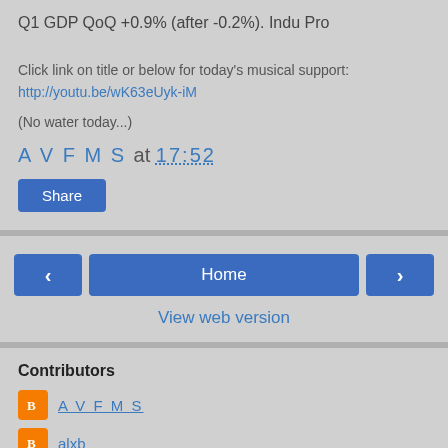Q1 GDP QoQ +0.9% (after -0.2%). Indu Pro
Click link on title or below for today's musical support:
http://youtu.be/wK63eUyk-iM
(No water today...)
A V F M S at 17:52
Share
< Home >
View web version
Contributors
A V F M S
alxb
Powered by Blogger.